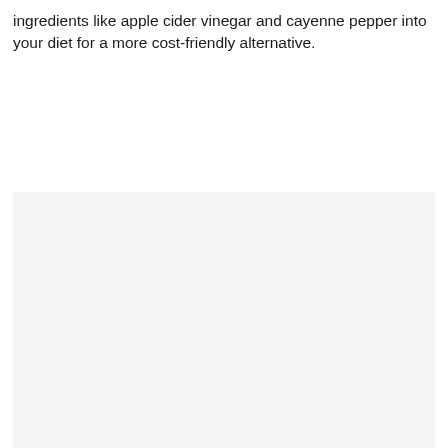ingredients like apple cider vinegar and cayenne pepper into your diet for a more cost-friendly alternative.
[Figure (photo): Large light gray placeholder image area occupying the lower portion of the page]